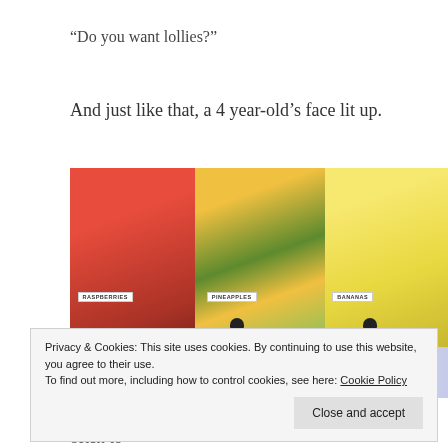“Do you want lollies?”
And just like that, a 4 year-old’s face lit up.
[Figure (photo): Photo of candy dispensing bins labeled Raspberries, Pineapples, and Bananas, with scoops and a hand holding a clear cup with candies.]
Privacy & Cookies: This site uses cookies. By continuing to use this website, you agree to their use.
To find out more, including how to control cookies, see here: Cookie Policy
ate them slowly in the car, stopping every so often to